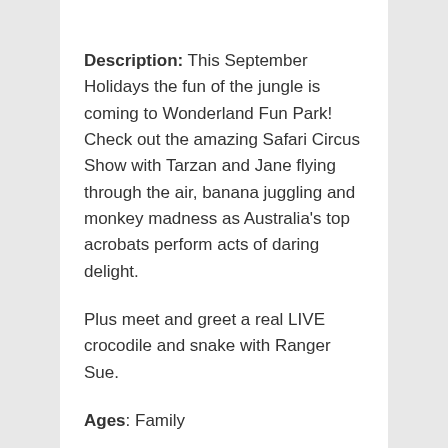Description: This September Holidays the fun of the jungle is coming to Wonderland Fun Park! Check out the amazing Safari Circus Show with Tarzan and Jane flying through the air, banana juggling and monkey madness as Australia's top acrobats perform acts of daring delight.
Plus meet and greet a real LIVE crocodile and snake with Ranger Sue.
Ages: Family
Date/s: 22 Sept – 7th Oct